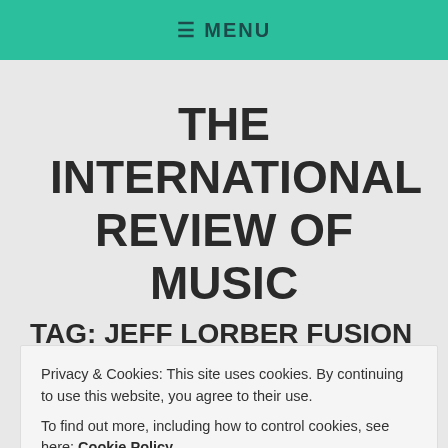≡ MENU
THE INTERNATIONAL REVIEW OF MUSIC
TAG: JEFF LORBER FUSION
Privacy & Cookies: This site uses cookies. By continuing to use this website, you agree to their use.
To find out more, including how to control cookies, see here: Cookie Policy
Close and accept